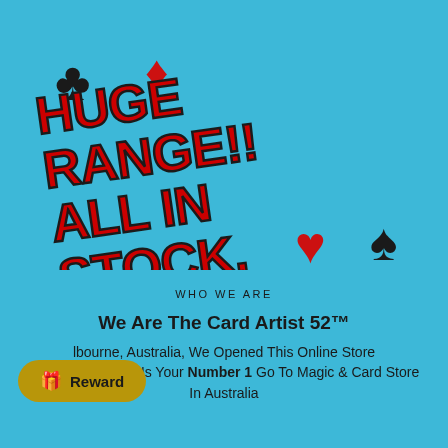[Figure (illustration): Blue background promotional banner with card suit symbols (club, diamond, heart, spade) and bold red italic text reading 'HUGE RANGE!! ALL IN STOCK, NO WAITING!!' rotated at an angle]
WHO WE ARE
We Are The Card Artist 52™
...lbourne, Australia, We Opened This Online Store W... ...o Make Us Your Number 1 Go To Magic & Card Store In Australia
[Figure (other): Gold/olive colored reward button with gift box icon and text 'Reward']